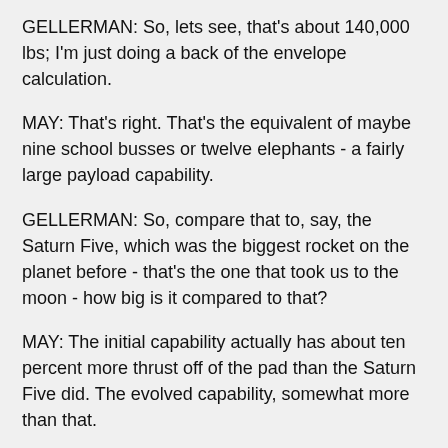GELLERMAN: So, lets see, that's about 140,000 lbs; I'm just doing a back of the envelope calculation.
MAY: That's right. That's the equivalent of maybe nine school busses or twelve elephants - a fairly large payload capability.
GELLERMAN: So, compare that to, say, the Saturn Five, which was the biggest rocket on the planet before - that's the one that took us to the moon - how big is it compared to that?
MAY: The initial capability actually has about ten percent more thrust off of the pad than the Saturn Five did. The evolved capability, somewhat more than that.